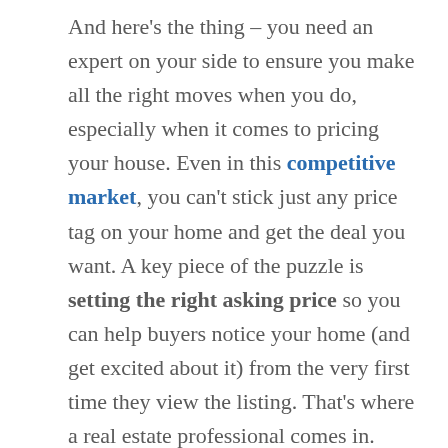And here's the thing – you need an expert on your side to ensure you make all the right moves when you do, especially when it comes to pricing your house. Even in this competitive market, you can't stick just any price tag on your home and get the deal you want. A key piece of the puzzle is setting the right asking price so you can help buyers notice your home (and get excited about it) from the very first time they view the listing. That's where a real estate professional comes in.